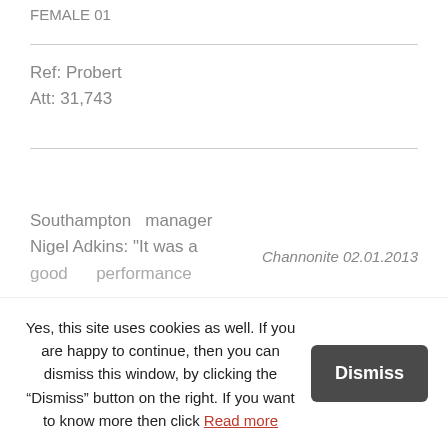FEMALE 01
Ref: Probert
Att: 31,743
Southampton manager Nigel Adkins: "It was a good performance
Channonite 02.01.2013
Yes, this site uses cookies as well. If you are happy to continue, then you can dismiss this window, by clicking the “Dismiss” button on the right. If you want to know more then click Read more